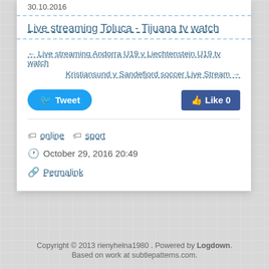30.10.2016
Live streaming Toluca - Tijuana tv watch
← Live streaming Andorra U19 v Liechtenstein U19 tv watch
Kristiansund v Sandefjord soccer Live Stream →
[Figure (other): Tweet and Like social buttons]
online  sport
October 29, 2016 20:49
Permalink
Copyright © 2013 rienyhelna1980 . Powered by Logdown. Based on work at subtlepatterns.com.